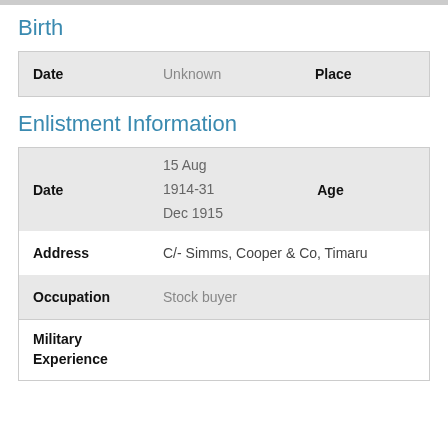Birth
| Date | Unknown | Place |  |
Enlistment Information
| Date | 15 Aug 1914-31 Dec 1915 | Age |  |
| Address | C/- Simms, Cooper & Co, Timaru |  |  |
| Occupation | Stock buyer |  |  |
| Military Experience |  |  |  |